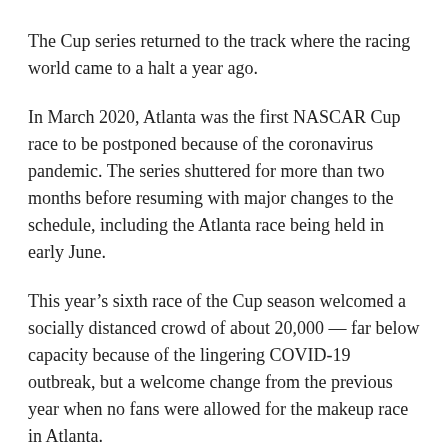The Cup series returned to the track where the racing world came to a halt a year ago.
In March 2020, Atlanta was the first NASCAR Cup race to be postponed because of the coronavirus pandemic. The series shuttered for more than two months before resuming with major changes to the schedule, including the Atlanta race being held in early June.
This year’s sixth race of the Cup season welcomed a socially distanced crowd of about 20,000 — far below capacity because of the lingering COVID-19 outbreak, but a welcome change from the previous year when no fans were allowed for the makeup race in Atlanta.
The Cup racers will return to the 1.54-mile trioval July 11,